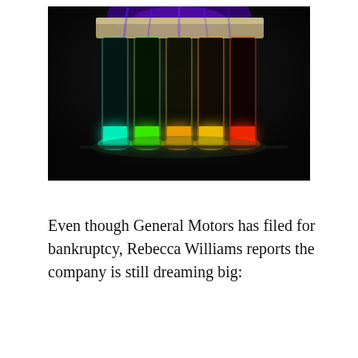[Figure (photo): Photograph of several glass vials or test tubes filled with glowing fluorescent liquids arranged in a row against a dark background. The liquids glow in a spectrum of colors from left to right: cyan/teal, green, yellow-green, orange, yellow-orange, and red, illuminated by UV or blue light from above.]
Even though General Motors has filed for bankruptcy, Rebecca Williams reports the company is still dreaming big: